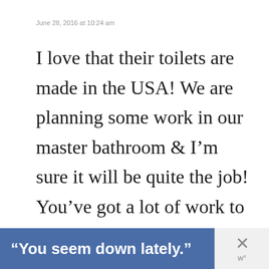June 28, 2016 at 10:24 am
I love that their toilets are made in the USA! We are planning some work in our master bathroom & I’m sure it will be quite the job! You’ve got a lot of work to be done, but it will be so worth it when it’s
“You seem down lately.”